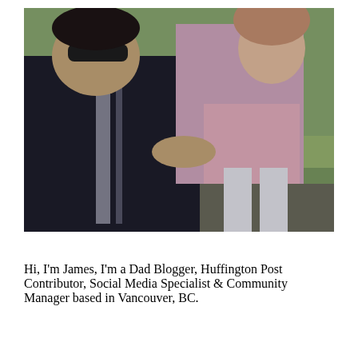[Figure (photo): A man wearing sunglasses and a dark jacket with white stripes holds a young girl in a pink jacket and floral dress at an outdoor park setting.]
Hi, I'm James, I'm a Dad Blogger, Huffington Post Contributor, Social Media Specialist & Community Manager based in Vancouver, BC.